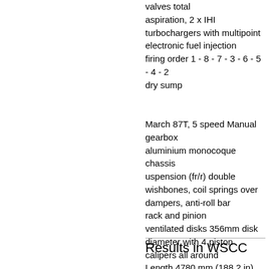valves total aspiration, 2 x IHI turbochargers with multipoint electronic fuel injection firing order 1 - 8 - 7 - 3 - 6 - 5 - 4 - 2 dry sump
March 87T, 5 speed Manual gearbox aluminium monocoque chassis uspension (fr/r) double wishbones, coil springs over dampers, anti-roll bar rack and pinion ventilated disks 356mm disk diameter with 4 piston calipers all around Length 4780 mm (188.2 in) Width 1990 mm (78.3 in) Height 965 mm (38 in) Wheelbase 2800 mm (110.2 in) Track (fr/r) 1600 mm (63 in) / 1550 mm (61 in) wheels, front 13x17", rear 14x19" tires, front 320/30R17", rear 350/40R19" 850kg, 940kg at Le Mans
Results in WSCC